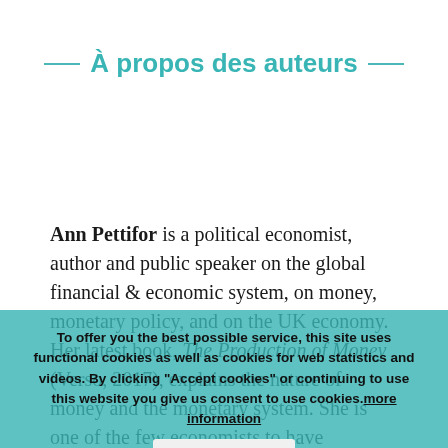À propos des auteurs
Ann Pettifor is a political economist, author and public speaker on the global financial & economic system, on money, monetary policy, and on the UK economy. Her latest book, The Production of Money (Verso, 2017), explains the nature of money and the monetary system. She is one of the few economists to have predicted the 2008 economic crisis. During the late 1990s, she led a campaign, Jubilee 2000, which as part of an international
To offer you the best possible service, this site uses functional cookies as well as cookies for web statistics and videos. By clicking "Accept cookies" or continuing to use this website you give us consent to use cookies. more information
Accept